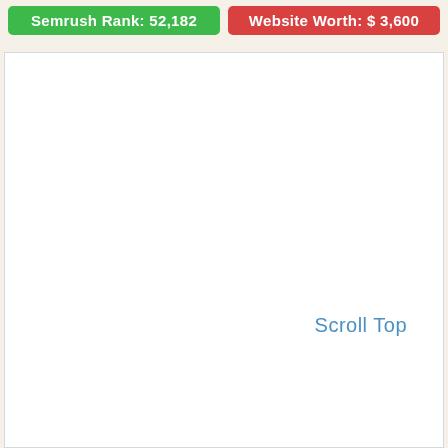Semrush Rank: 52,182
Website Worth: $ 3,600
Scroll Top